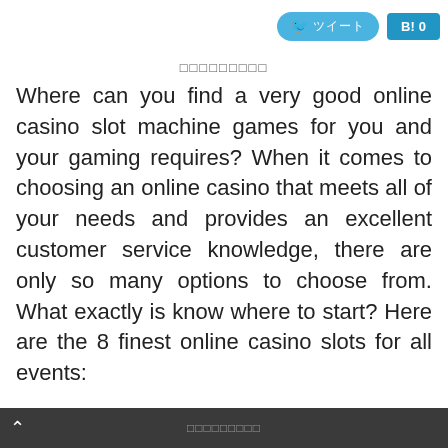ツイート　　B! 0
□□□□□□□□□
Where can you find a very good online casino slot machine games for you and your gaming requires? When it comes to choosing an online casino that meets all of your needs and provides an excellent customer service knowledge, there are only so many options to choose from. What exactly is know where to start? Here are the 8 finest online casino slots for all events:
Traditional casino Intertops: The best ranked betting house website in our list is internet casino interiors. This kind of top on-line casinos all offer a wonderful combination of features, promotions and slots. This web site was designed simply by industry experts with input from world-class specialists in the online gambling house industry. Players
□□□□□□□□□